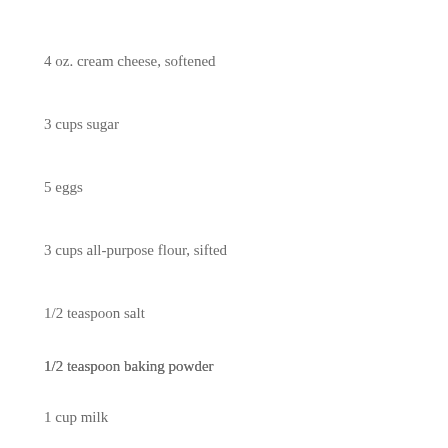4 oz. cream cheese, softened
3 cups sugar
5 eggs
3 cups all-purpose flour, sifted
1/2 teaspoon salt
1/2 teaspoon baking powder
1 cup milk
1 teaspoon vanilla extract